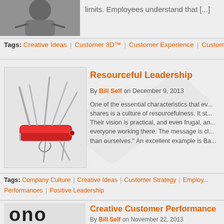[Figure (photo): Black and white photo, partially cropped, showing hands or body]
limits. Employees understand that [...]
Tags: Creative Ideas | Customer 3D™ | Customer Experience | Custome
[Figure (photo): Swiss army knife with multiple tools extended, red handle]
Resourceful Leadership
By Bill Self on December 9, 2013
One of the essential characteristics that ev... shares is a culture of resourcefulness. It st... Their vision is practical, and even frugal, an... everyone working there. The message is cl... than ourselves." An excellent example is Ba...
Tags: Company Culture | Creative Ideas | Customer Strategy | Employ... Performances | Positive Leadership
Creative Customer Performance
By Bill Self on November 22, 2013